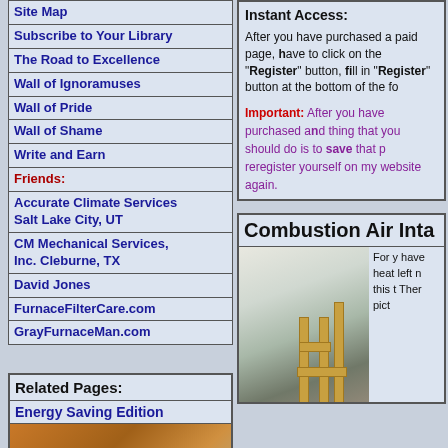Site Map
Subscribe to Your Library
The Road to Excellence
Wall of Ignoramuses
Wall of Pride
Wall of Shame
Write and Earn
Friends:
Accurate Climate Services Salt Lake City, UT
CM Mechanical Services, Inc. Cleburne, TX
David Jones
FurnaceFilterCare.com
GrayFurnaceMan.com
Related Pages:
Energy Saving Edition
[Figure (photo): Photo of energy saving edition book/product - orange/brown colored]
Instant Access: After you have purchased a paid page, have to click on the "Register" button, fill in "Register" button at the bottom of the fo
Important: After you have purchased and thing that you should do is to save that p reregister yourself on my website again.
Combustion Air Inta
[Figure (photo): Photo of combustion air intake pipes - showing copper/metal pipes against white wall]
For y have heat left n this T Ther pict